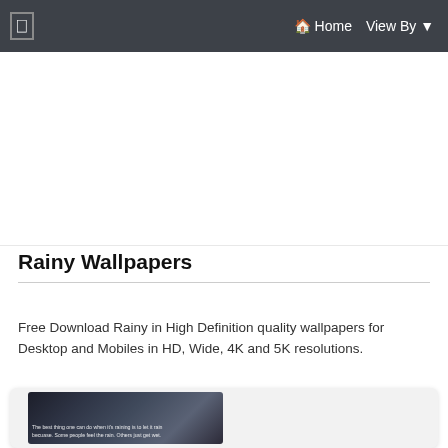☰  🏠 Home  View By ▾
[Figure (other): Advertisement / blank white area below navigation bar]
Rainy Wallpapers
Free Download Rainy in High Definition quality wallpapers for Desktop and Mobiles in HD, Wide, 4K and 5K resolutions.
[Figure (photo): Rainy wallpaper card with dark rainy street scene and overlay text: 'The best thing one can do when it's raining is to let it rain becuase. Some people feel the rain. Others just get wet.']